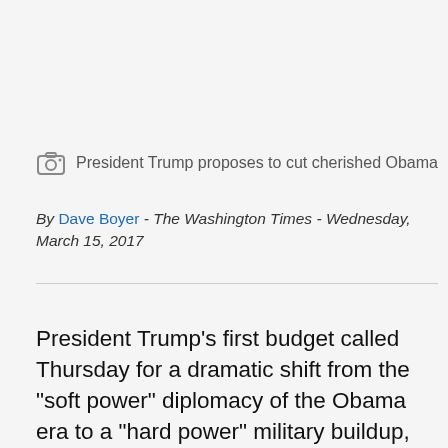President Trump proposes to cut cherished Obama prog
By Dave Boyer - The Washington Times - Wednesday, March 15, 2017
President Trump’s first budget called Thursday for a dramatic shift from the “soft power” diplomacy of the Obama era to a “hard power” military buildup, cutting the State Department by 28 percent in a slashing of foreign aid, boosting Pentagon spending by 10 percent and budgeting more than $4 billion to start construction of a border wall with Mexico.